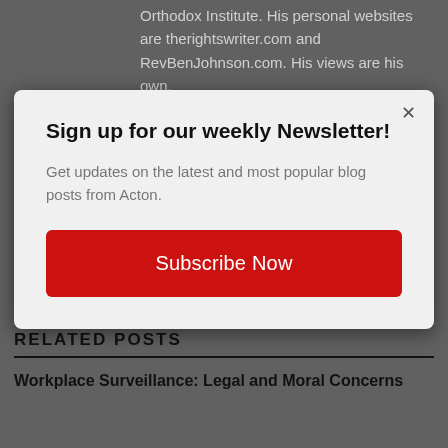Orthodox Institute. His personal websites are therightswriter.com and RevBenJohnson.com. His views are his own.
Sign up for our weekly Newsletter!
Get updates on the latest and most popular blog posts from Acton.
Subscribe Now
RELATED POSTS
Workplace Surveillance: Legal and Moral Concerns